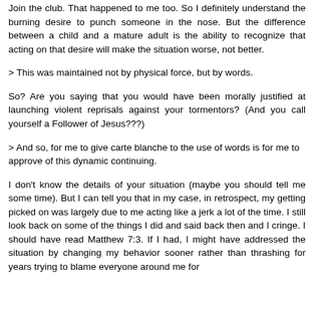Join the club. That happened to me too. So I definitely understand the burning desire to punch someone in the nose. But the difference between a child and a mature adult is the ability to recognize that acting on that desire will make the situation worse, not better.
> This was maintained not by physical force, but by words.
So? Are you saying that you would have been morally justified at launching violent reprisals against your tormentors? (And you call yourself a Follower of Jesus???)
> And so, for me to give carte blanche to the use of words is for me to approve of this dynamic continuing.
I don't know the details of your situation (maybe you should tell me some time). But I can tell you that in my case, in retrospect, my getting picked on was largely due to me acting like a jerk a lot of the time. I still look back on some of the things I did and said back then and I cringe. I should have read Matthew 7:3. If I had, I might have addressed the situation by changing my behavior sooner rather than thrashing for years trying to blame everyone around me for